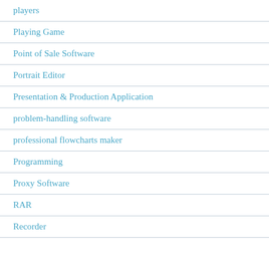players
Playing Game
Point of Sale Software
Portrait Editor
Presentation & Production Application
problem-handling software
professional flowcharts maker
Programming
Proxy Software
RAR
Recorder